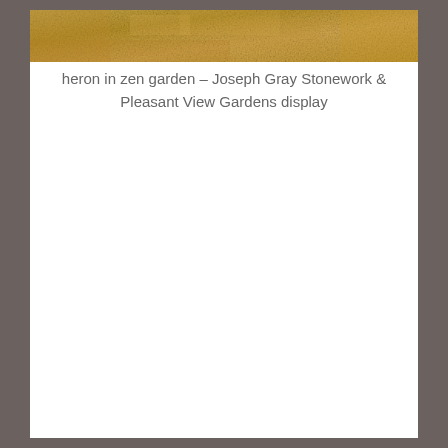[Figure (photo): A photo of a zen garden scene, showing a golden/sandy textured surface, cropped to show just the top strip of the image.]
heron in zen garden – Joseph Gray Stonework & Pleasant View Gardens display